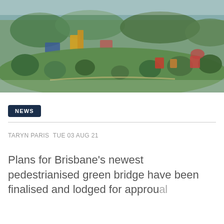[Figure (photo): Aerial/elevated view of a green urban park area near a river with trees, colorful playground or festival structures, and surrounding greenery. Image is slightly blurred/tilt-shift effect.]
NEWS
TARYN PARIS TUE 03 AUG 21
Plans for Brisbane's newest pedestrianised green bridge have been finalised and lodged for approval